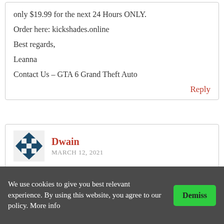only $19.99 for the next 24 Hours ONLY.
Order here: kickshades.online
Best regards,
Leanna
Contact Us – GTA 6 Grand Theft Auto
Reply
Dwain
MARCH 12, 2021
The #1 Best Dog Bed Of 2021
Get yours now, we're currently having a sale & Free Shipping
We use cookies to give you best relevant experience. By using this website, you agree to our policy. More info
Demiss